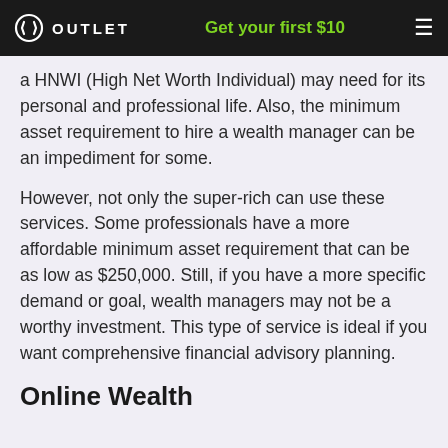OUTLET  Get your first $10
a HNWI (High Net Worth Individual) may need for its personal and professional life. Also, the minimum asset requirement to hire a wealth manager can be an impediment for some.
However, not only the super-rich can use these services. Some professionals have a more affordable minimum asset requirement that can be as low as $250,000. Still, if you have a more specific demand or goal, wealth managers may not be a worthy investment. This type of service is ideal if you want comprehensive financial advisory planning.
Online Wealth